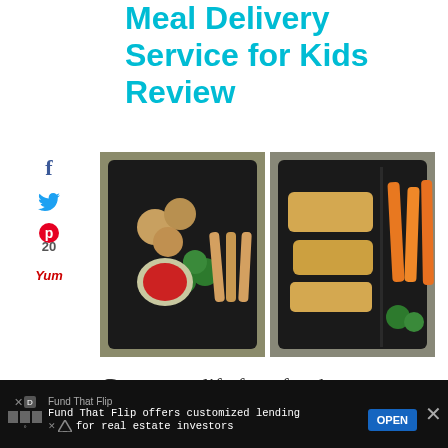Meal Delivery Service for Kids Review
[Figure (photo): Two black meal trays side by side: left tray has meatballs, broccoli, breadsticks and red dipping sauce; right tray has breaded chicken strips, sweet potato fries and broccoli]
Do you qualify for a free breast pump?
20
SHARES
[Figure (photo): Young woman with long brown hair looking down, standing indoors near a white cabinet with artwork on wall behind her]
Fund That Flip
Fund That Flip offers customized lending for real estate investors
OPEN